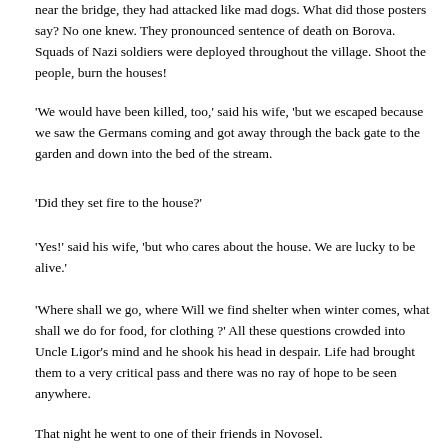near the bridge, they had attacked like mad dogs. What did those posters say? No one knew. They pronounced sentence of death on Borova. Squads of Nazi soldiers were deployed throughout the village. Shoot the people, burn the houses!
'We would have been killed, too,' said his wife, 'but we escaped because we saw the Germans coming and got away through the back gate to the garden and down into the bed of the stream.
'Did they set fire to the house?'
'Yes!' said his wife, 'but who cares about the house. We are lucky to be alive.'
'Where shall we go, where Will we find shelter when winter comes, what shall we do for food, for clothing ?' All these questions crowded into Uncle Ligor's mind and he shook his head in despair. Life had brought them to a very critical pass and there was no ray of hope to be seen anywhere.
That night he went to one of their friends in Novosel.